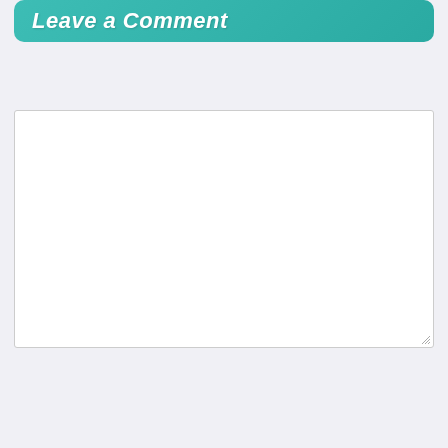Leave a Comment
[Figure (screenshot): Comment textarea input field, empty, with resize handle at bottom right]
Name *
Email *
Post Comment